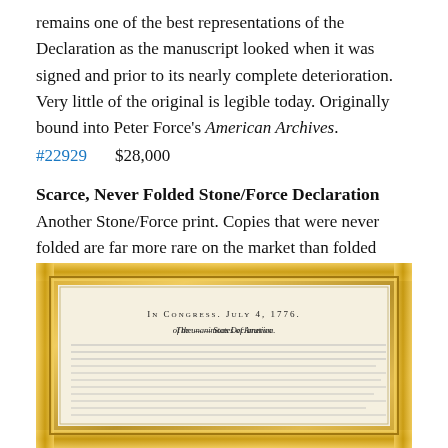remains one of the best representations of the Declaration as the manuscript looked when it was signed and prior to its nearly complete deterioration. Very little of the original is legible today. Originally bound into Peter Force's American Archives.
#22929   $28,000
Scarce, Never Folded Stone/Force Declaration
Another Stone/Force print. Copies that were never folded are far more rare on the market than folded ones.
#20728   $45,000
[Figure (photo): Framed Declaration of Independence document in an ornate gold frame, showing 'In Congress, July 4, 1776. The unanimous Declaration of the States of America.' text visible at the top of the document.]